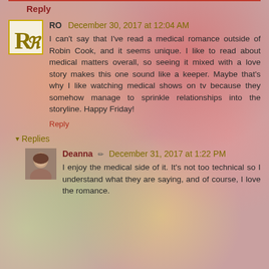Reply
RO  December 30, 2017 at 12:04 AM
I can't say that I've read a medical romance outside of Robin Cook, and it seems unique. I like to read about medical matters overall, so seeing it mixed with a love story makes this one sound like a keeper. Maybe that's why I like watching medical shows on tv because they somehow manage to sprinkle relationships into the storyline. Happy Friday!
Reply
Replies
Deanna  December 31, 2017 at 1:22 PM
I enjoy the medical side of it. It's not too technical so I understand what they are saying, and of course, I love the romance.